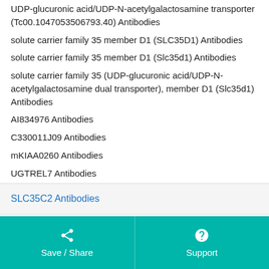UDP-glucuronic acid/UDP-N-acetylgalactosamine transporter (Tc00.1047053506793.40) Antibodies
solute carrier family 35 member D1 (SLC35D1) Antibodies
solute carrier family 35 member D1 (Slc35d1) Antibodies
solute carrier family 35 (UDP-glucuronic acid/UDP-N-acetylgalactosamine dual transporter), member D1 (Slc35d1) Antibodies
AI834976 Antibodies
C330011J09 Antibodies
mKIAA0260 Antibodies
UGTREL7 Antibodies
Did you look for something else?
SLC35C2 Antibodies
Save / Share   Support